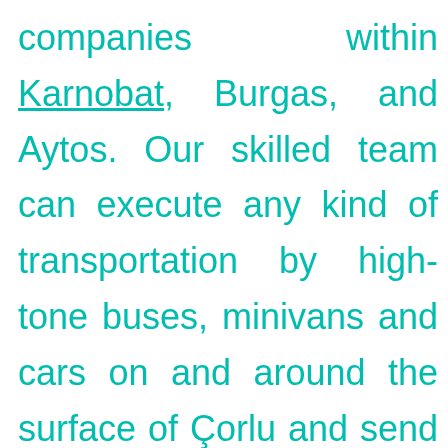companies within Karnobat, Burgas, and Aytos. Our skilled team can execute any kind of transportation by high-tone buses, minivans and cars on and around the surface of Çorlu and send you top-class vehicles for your tours next to it. Regardless whether you book just a short city sightseeing tour in Çorlu, or a